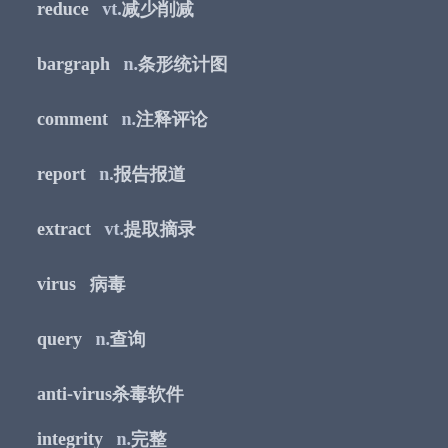reduce   vt.减少削减
bargraph   n.条形统计图
comment   n.注释评论
report   n.报告报道
extract   vt.提取摘录
virus   病毒
query   n.查询
anti-virus杀毒软件
integrity   n.完整